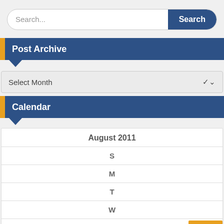[Figure (screenshot): Search bar UI with text input field reading 'Search...' and a dark blue rounded 'Search' button]
Post Archive
[Figure (screenshot): Dropdown select UI element reading 'Select Month' with a chevron arrow on the right]
Calendar
| August 2011 |
| --- |
| S |
| M |
| T |
| W |
| T |
| F |